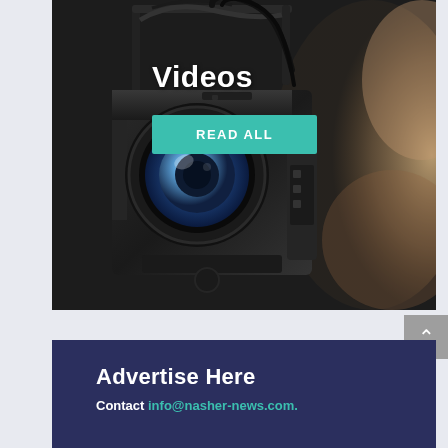[Figure (photo): Professional video camera/camcorder shown in close-up, dark background with bokeh blur effect on the right side]
Videos
READ ALL
Advertise Here
Contact info@nasher-news.com.